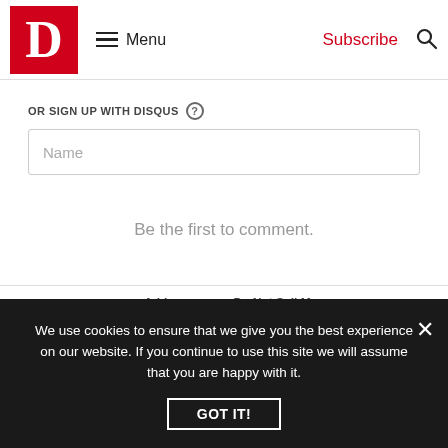D | Menu | Subscribe
OR SIGN UP WITH DISQUS
Name
Be the first to comment.
Subscribe | Add Disqus | Do Not Sell My Data | DISQUS
We use cookies to ensure that we give you the best experience on our website. If you continue to use this site we will assume that you are happy with it.
GOT IT!